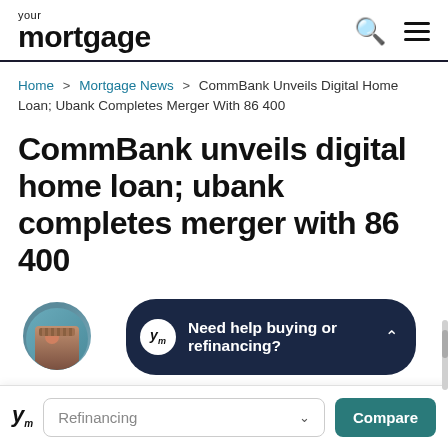your mortgage
Home > Mortgage News > CommBank Unveils Digital Home Loan; Ubank Completes Merger With 86 400
CommBank unveils digital home loan; ubank completes merger with 86 400
[Figure (other): Dark navy rounded bar widget with ym logo circle and text 'Need help buying or refinancing?' with chevron up arrow, overlapping circular avatar photo]
ym  Refinancing  Compare